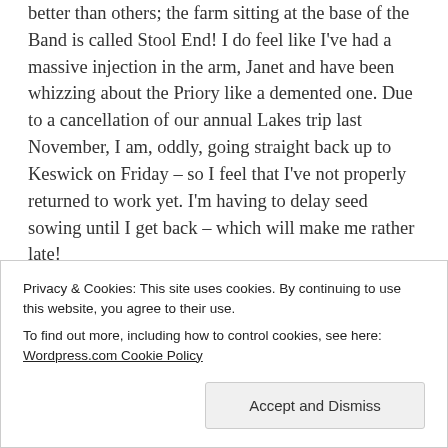better than others; the farm sitting at the base of the Band is called Stool End! I do feel like I've had a massive injection in the arm, Janet and have been whizzing about the Priory like a demented one. Due to a cancellation of our annual Lakes trip last November, I am, oddly, going straight back up to Keswick on Friday – so I feel that I've not properly returned to work yet. I'm having to delay seed sowing until I get back – which will make me rather late!
Privacy & Cookies: This site uses cookies. By continuing to use this website, you agree to their use.
To find out more, including how to control cookies, see here: Wordpress.com Cookie Policy